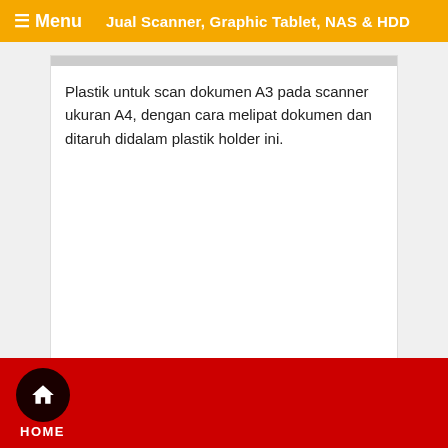☰ Menu   Jual Scanner, Graphic Tablet, NAS & HDD
Plastik untuk scan dokumen A3 pada scanner ukuran A4, dengan cara melipat dokumen dan ditaruh didalam plastik holder ini.
HOME